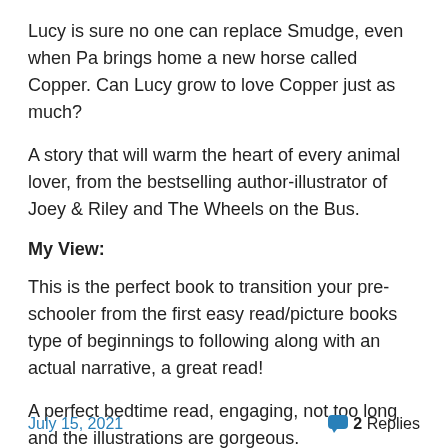Lucy is sure no one can replace Smudge, even when Pa brings home a new horse called Copper. Can Lucy grow to love Copper just as much?
A story that will warm the heart of every animal lover, from the bestselling author-illustrator of Joey & Riley and The Wheels on the Bus.
My View:
This is the perfect book to transition your pre-schooler from the first easy read/picture books type of beginnings to following along with an actual narrative, a great read!
A perfect bedtime read, engaging, not too long and the illustrations are gorgeous.
July 15, 2021   2 Replies